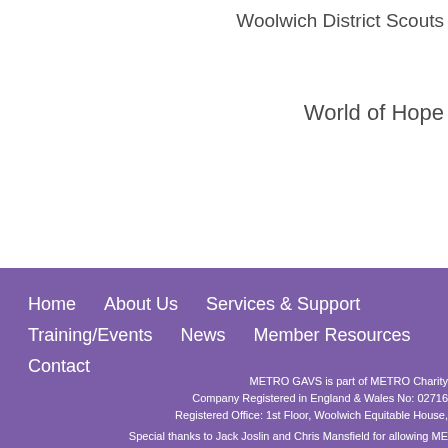Woolwich District Scouts
World of Hope
Home
About Us
Services & Support
Training/Events
News
Member Resources
Contact
METRO GAVS is part of METRO Charity
Company Registered in England & Wales No: 02716
Registered Office: 1st Floor, Woolwich Equitable House,
Special thanks to Jack Joslin and Chris Mansfield for allowing ME